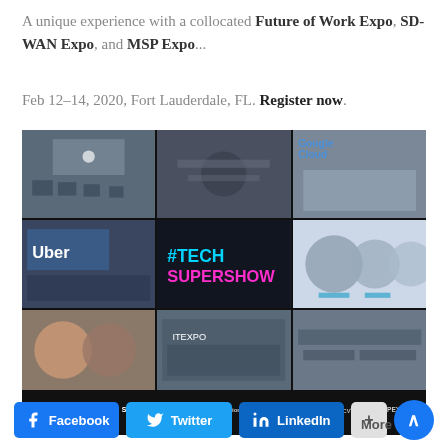A unique experience with a collocated Future of Work Expo, SD-WAN Expo, and MSP Expo...
Feb 12-14, 2020, Fort Lauderdale, FL. Register now.
[Figure (photo): Photo collage of tech conference event showing audience, speakers, expo floor, #TECH SUPERSHOW signage, Uber logo on screen, networking attendees, and conference logo bar with ITEXPO, SD-WAN, IoTEvolution, Future of Work, MSPEXPO and other brands]
Facebook
Twitter
LinkedIn
+ More